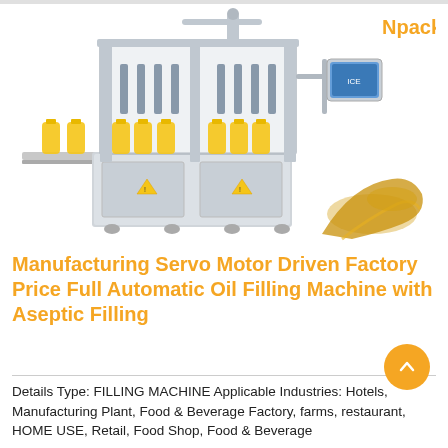[Figure (photo): Industrial automatic oil filling machine with conveyor belt carrying yellow oil bottles, stainless steel frame, digital control panel, with golden oil splash element. Npack logo in top right corner.]
Manufacturing Servo Motor Driven Factory Price Full Automatic Oil Filling Machine with Aseptic Filling
Details Type: FILLING MACHINE Applicable Industries: Hotels, Manufacturing Plant, Food & Beverage Factory, farms, restaurant, HOME USE, Retail, Food Shop, Food & Beverage